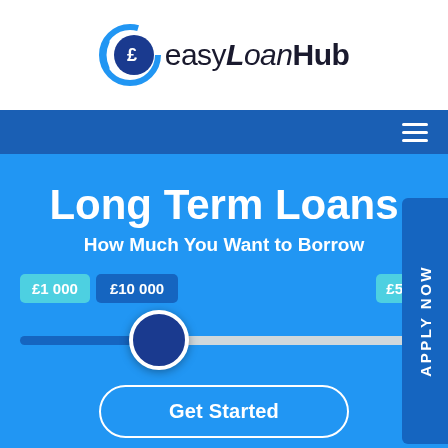[Figure (logo): easyLoanHub logo with blue circular icon and text]
[Figure (screenshot): Navigation bar with hamburger menu icon on dark blue background]
Long Term Loans
How Much You Want to Borrow
[Figure (infographic): Loan amount slider showing £1 000, £10 000 and £50 000 range with circular thumb handle]
Get Started
APPLY NOW